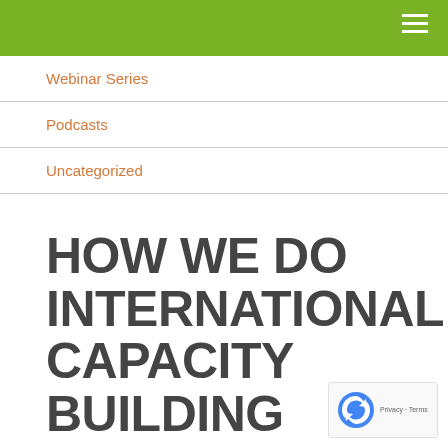Webinar Series
Podcasts
Uncategorized
HOW WE DO INTERNATIONAL CAPACITY BUILDING
JANUARY 27, 2010, BY MICHAEL GILLENWATER
In the climate change policy world there is plenty about capacity building, especially for developing countries — though occasionally for developed